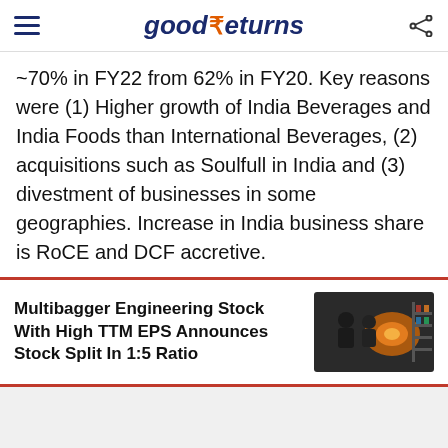good ₹eturns
~70% in FY22 from 62% in FY20. Key reasons were (1) Higher growth of India Beverages and India Foods than International Beverages, (2) acquisitions such as Soulfull in India and (3) divestment of businesses in some geographies. Increase in India business share is RoCE and DCF accretive.
Multibagger Engineering Stock With High TTM EPS Announces Stock Split In 1:5 Ratio
[Figure (photo): Thumbnail image of people in a meeting or business setting]